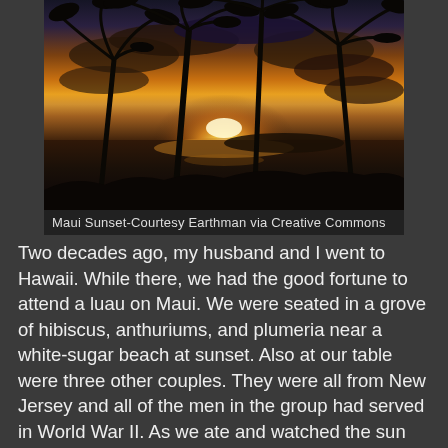[Figure (photo): Sunset photo over the ocean at Maui with silhouetted palm trees against an orange and red sky]
Maui Sunset-Courtesy Earthman via Creative Commons
Two decades ago, my husband and I went to Hawaii. While there, we had the good fortune to attend a luau on Maui. We were seated in a grove of hibiscus, anthuriums, and plumeria near a white-sugar beach at sunset. Also at our table were three other couples. They were all from New Jersey and all of the men in the group had served in World War II. As we ate and watched the sun set in a dazzling splash of red and orange over the inky Pacific, one of the men commented, “The beaches in New Jersey are prettier.”
I almost choked on my Kalau pork. I hadn’t been to a New Jersey beach, but I’d been to other beaches on the Atlantic coast, and I knew they weren’t as lovely as the one on which